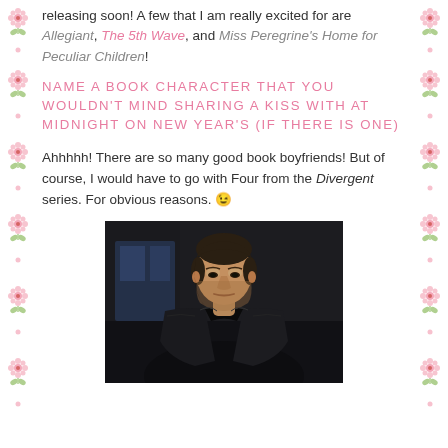releasing soon! A few that I am really excited for are Allegiant, The 5th Wave, and Miss Peregrine's Home for Peculiar Children!
NAME A BOOK CHARACTER THAT YOU WOULDN'T MIND SHARING A KISS WITH AT MIDNIGHT ON NEW YEAR'S (IF THERE IS ONE)
Ahhhhh! There are so many good book boyfriends! But of course, I would have to go with Four from the Divergent series. For obvious reasons. 😉
[Figure (photo): Dark moody photo of a young man with short dark hair wearing a black leather jacket, looking downward with a serious expression. Indoor dark background.]